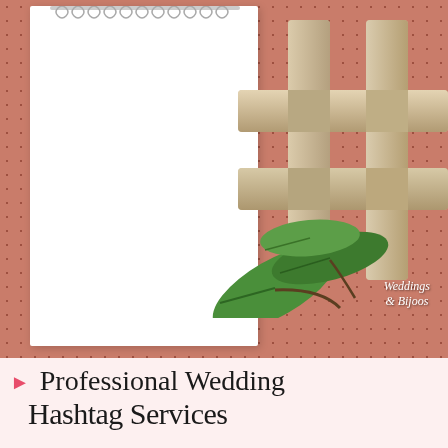[Figure (photo): A flat-lay photograph showing a white spiral-bound notebook on the left and a wooden hashtag sculpture on the right, both placed on a terracotta/salmon colored wicker or grid-textured background. Green leaves are visible in the lower center. A watermark reading 'Weddings & Bijoos' appears in the lower right.]
► Professional Wedding Hashtag Services